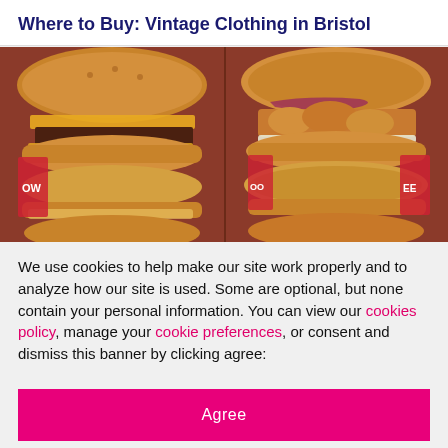Where to Buy: Vintage Clothing in Bristol
[Figure (photo): Close-up photo of four stacked burgers served in red branded wrappers/paper — two cheeseburgers on the left and two crispy chicken sandwiches on the right, arranged in a 2x2 grid.]
We use cookies to help make our site work properly and to analyze how our site is used. Some are optional, but none contain your personal information. You can view our cookies policy, manage your cookie preferences, or consent and dismiss this banner by clicking agree:
Agree